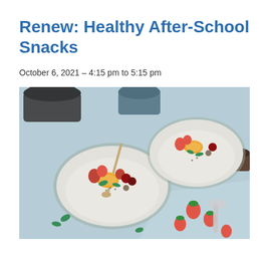Renew: Healthy After-School Snacks
October 6, 2021 – 4:15 pm to 5:15 pm
[Figure (photo): Overhead view of two ceramic bowls of oatmeal/porridge topped with fresh fruits including strawberries, raspberries, oranges, cherries, and herbs, on a light blue surface with spoons, a cloth napkin, and dark mugs in the background.]